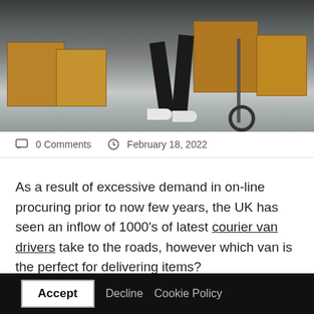[Figure (photo): Person wheeling a cart with cardboard boxes in a warehouse/delivery area. Lower body visible showing dark trousers and white shoes.]
🗨 0 Comments  🕐 February 18, 2022
As a result of excessive demand in on-line procuring prior to now few years, the UK has seen an inflow of 1000's of latest courier van drivers take to the roads, however which van is the perfect for delivering items?
Accept  Decline  Cookie Policy